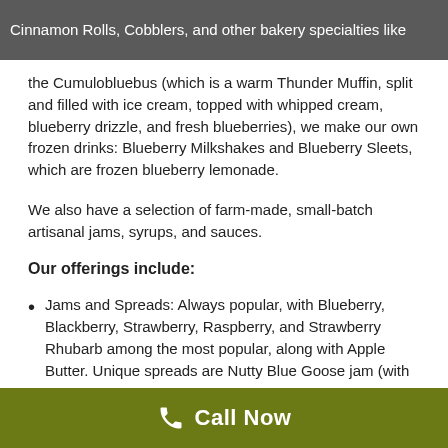Cinnamon Rolls, Cobblers, and other bakery specialties like the Cumulobluebus (which is a warm Thunder Muffin, split and filled with ice cream, topped with whipped cream, blueberry drizzle, and fresh blueberries), we make our own frozen drinks: Blueberry Milkshakes and Blueberry Sleets, which are frozen blueberry lemonade.
We also have a selection of farm-made, small-batch artisanal jams, syrups, and sauces.
Our offerings include:
Jams and Spreads: Always popular, with Blueberry, Blackberry, Strawberry, Raspberry, and Strawberry Rhubarb among the most popular, along with Apple Butter. Unique spreads are Nutty Blue Goose jam (with
Call Now